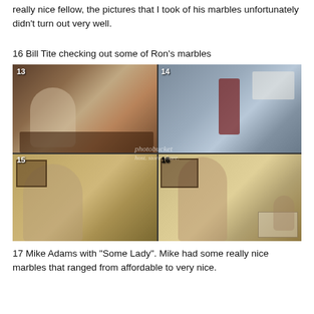really nice fellow, the pictures that I took of his marbles unfortunately didn't turn out very well.
16 Bill Tite checking out some of Ron's marbles
[Figure (photo): A 2x2 grid of four photographs numbered 13-16. Photo 13: man at computer desk wearing red cap. Photo 14: close-up of a ribbon/award on a plaid shirt. Photo 15: man with patterned shirt standing in a room. Photo 16: man standing next to a display case with marbles.]
17 Mike Adams with "Some Lady". Mike had some really nice marbles that ranged from affordable to very nice.